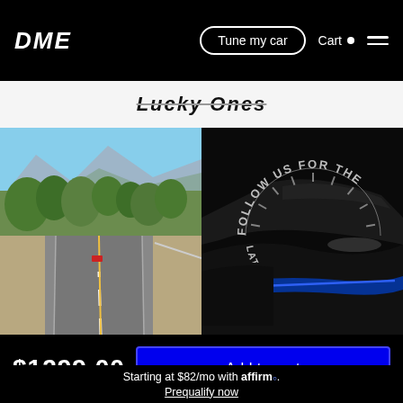DME | Tune my car | Cart
Lucky Ones
[Figure (photo): Two side-by-side photos: left shows a mountain highway with a red car and trees; right shows a dark car interior with blue ambient lighting and a circular 'FOLLOW US FOR THE LATEST IN TUNING' watermark overlay]
$1299.00
Add to cart
Starting at $82/mo with affirm. Prequalify now